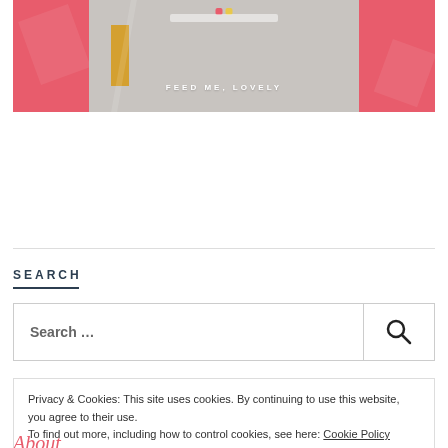[Figure (screenshot): Website banner/header screenshot showing a food blog called FEED ME, LOVELY with pink side panels, grey center area, and a yellow accent element]
SEARCH
[Figure (screenshot): Search input box with placeholder text 'Search ...' and a magnifying glass search button on the right]
Privacy & Cookies: This site uses cookies. By continuing to use this website, you agree to their use.
To find out more, including how to control cookies, see here: Cookie Policy
Close and accept
About